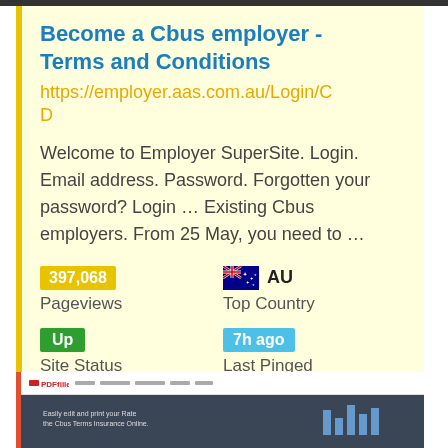Become a Cbus employer - Terms and Conditions
https://employer.aas.com.au/Login/CD
Welcome to Employer SuperSite. Login. Email address. Password. Forgotten your password? Login ... Existing Cbus employers. From 25 May, you need to ...
397,068 Pageviews
AU Top Country
Up Site Status
7h ago Last Pinged
[Figure (screenshot): Partial screenshot of a website (PDFfiller or similar) showing a dark header and page content]